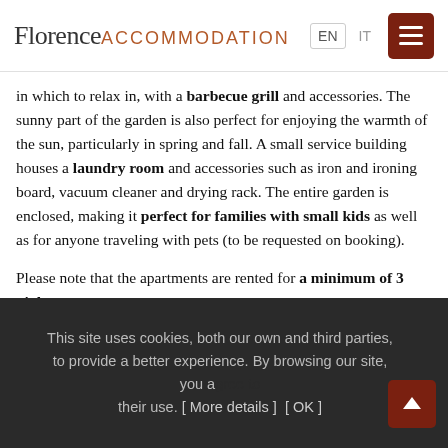Florence ACCOMMODATION | EN IT [menu]
in which to relax in, with a barbecue grill and accessories. The sunny part of the garden is also perfect for enjoying the warmth of the sun, particularly in spring and fall. A small service building houses a laundry room and accessories such as iron and ironing board, vacuum cleaner and drying rack. The entire garden is enclosed, making it perfect for families with small kids as well as for anyone traveling with pets (to be requested on booking).
Please note that the apartments are rented for a minimum of 3 nights.
At the entrance into Chianti, perfect for enjoying the outdoors
This site uses cookies, both our own and third parties, to provide a better experience. By browsing our site, you agree to their use. [ More details ] [ OK ]